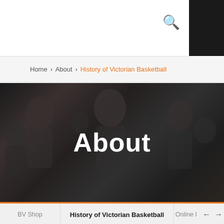🔍
Home > About > History of Victorian Basketball
[Figure (photo): Dark toned basketball players photo used as hero banner background with the word 'About' overlaid in white bold text]
About
BV Shop | History of Victorian Basketball | Online ← →